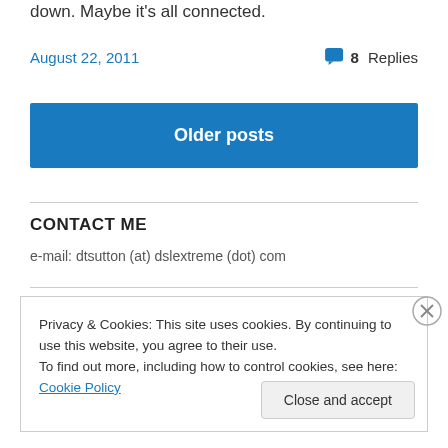down. Maybe it's all connected.
August 22, 2011   8 Replies
Older posts
CONTACT ME
e-mail: dtsutton (at) dslextreme (dot) com
Privacy & Cookies: This site uses cookies. By continuing to use this website, you agree to their use.
To find out more, including how to control cookies, see here: Cookie Policy
Close and accept